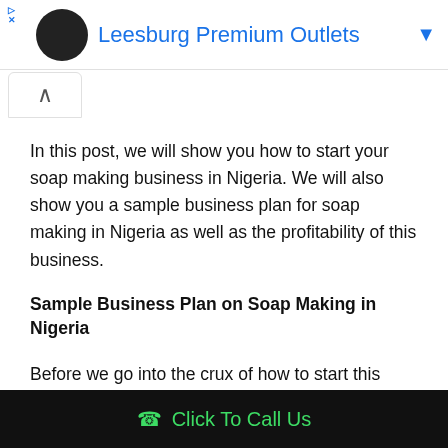[Figure (screenshot): Ad banner for Leesburg Premium Outlets with logo, blue title text, and dropdown arrow]
[Figure (other): Collapse/chevron up button]
In this post, we will show you how to start your soap making business in Nigeria. We will also show you a sample business plan for soap making in Nigeria as well as the profitability of this business.
Sample Business Plan on Soap Making in Nigeria
Before we go into the crux of how to start this business, let us first show you a sample business plan. We put together this plan after lots of research. This means that you can use this plan as a template for grant and loan applications as well as running your business.
Click To Call Us